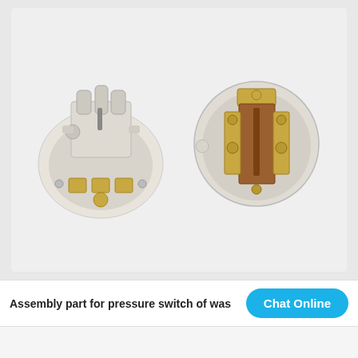[Figure (photo): Two views of a pressure switch assembly part for a washing machine. Left: circular white plastic base showing bottom with gold/brass electrical terminals and connector ports on top. Right: circular white plastic housing showing interior with copper/brass switch mechanism and mounting components.]
Assembly part for pressure switch of was...